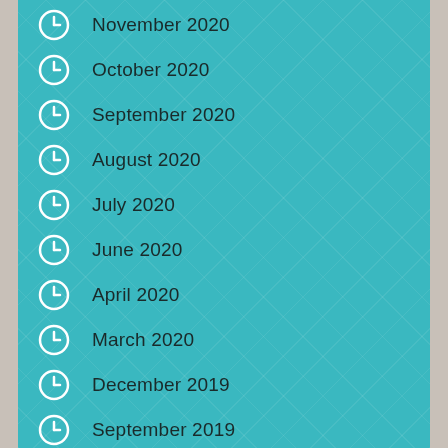November 2020
October 2020
September 2020
August 2020
July 2020
June 2020
April 2020
March 2020
December 2019
September 2019
August 2019
June 2019